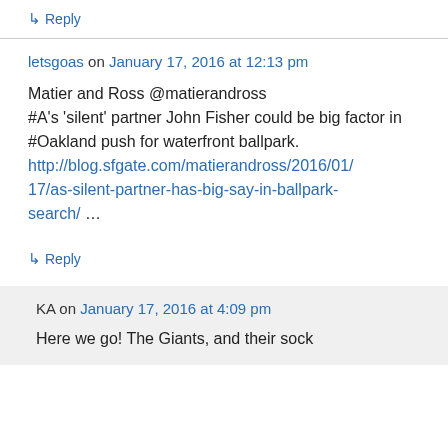↳ Reply
letsgoas on January 17, 2016 at 12:13 pm
Matier and Ross @matierandross
#A's 'silent' partner John Fisher could be big factor in #Oakland push for waterfront ballpark.
http://blog.sfgate.com/matierandross/2016/01/17/as-silent-partner-has-big-say-in-ballpark-search/ …
↳ Reply
KA on January 17, 2016 at 4:09 pm
Here we go! The Giants, and their sock